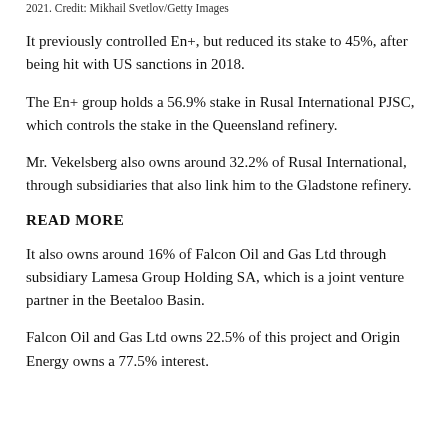2021. Credit: Mikhail Svetlov/Getty Images
It previously controlled En+, but reduced its stake to 45%, after being hit with US sanctions in 2018.
The En+ group holds a 56.9% stake in Rusal International PJSC, which controls the stake in the Queensland refinery.
Mr. Vekelsberg also owns around 32.2% of Rusal International, through subsidiaries that also link him to the Gladstone refinery.
READ MORE
It also owns around 16% of Falcon Oil and Gas Ltd through subsidiary Lamesa Group Holding SA, which is a joint venture partner in the Beetaloo Basin.
Falcon Oil and Gas Ltd owns 22.5% of this project and Origin Energy owns a 77.5% interest.